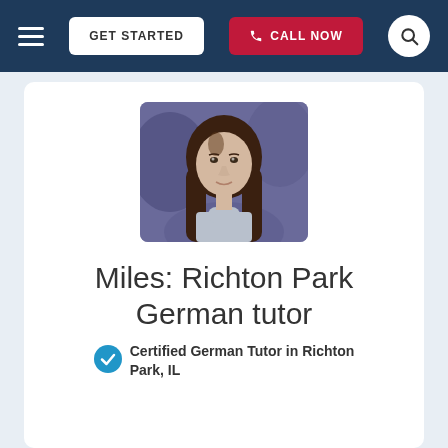GET STARTED | CALL NOW
[Figure (photo): Profile photo of Miles, a young woman with long brown hair wearing a grey turtleneck sweater, photographed against a blurred outdoor background]
Miles: Richton Park German tutor
Certified German Tutor in Richton Park, IL